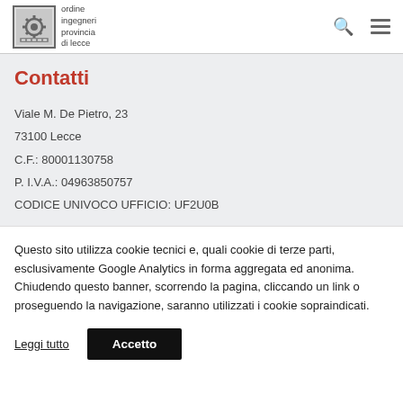[Figure (logo): Ordine Ingegneri Provincia di Lecce logo with gear icon]
Contatti
Viale M. De Pietro, 23
73100 Lecce
C.F.: 80001130758
P. I.V.A.: 04963850757
CODICE UNIVOCO UFFICIO: UF2U0B
Questo sito utilizza cookie tecnici e, quali cookie di terze parti, esclusivamente Google Analytics in forma aggregata ed anonima. Chiudendo questo banner, scorrendo la pagina, cliccando un link o proseguendo la navigazione, saranno utilizzati i cookie sopraindicati.
Leggi tutto
Accetto